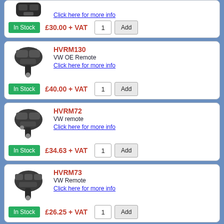[Figure (photo): Partial product card at top: VW key fob image, 'Click here for more info' link, In Stock badge, £30.00 + VAT price, quantity 1 input, Add button]
[Figure (photo): Product card HVRM130: VW OE Remote, flip key fob image]
HVRM130 - VW OE Remote - Click here for more info - In Stock - £40.00 + VAT
[Figure (photo): Product card HVRM72: VW remote, flip key fob image]
HVRM72 - VW remote - Click here for more info - In Stock - £34.63 + VAT
[Figure (photo): Product card HVRM73: VW Remote, flip key fob image]
HVRM73 - VW Remote - Click here for more info - In Stock - £26.25 + VAT